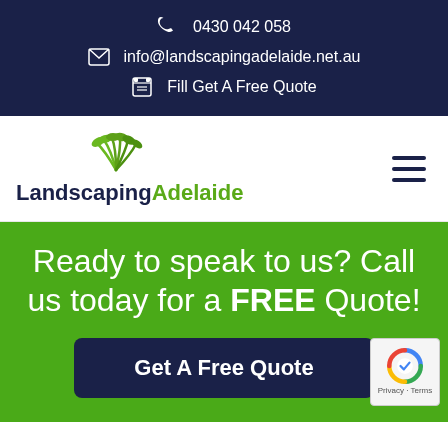0430 042 058
info@landscapingadelaide.net.au
Fill Get A Free Quote
[Figure (logo): Landscaping Adelaide logo with green leaf/plant graphic above the text 'Landscaping Adelaide' where 'Landscaping' is dark navy and 'Adelaide' is green]
Ready to speak to us? Call us today for a FREE Quote!
Get A Free Quote